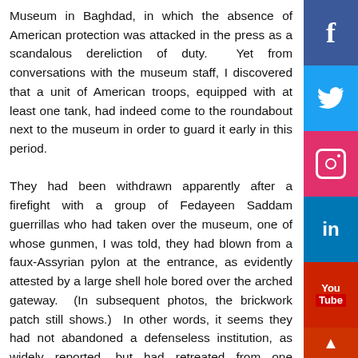Museum in Baghdad, in which the absence of American protection was attacked in the press as a scandalous dereliction of duty. Yet from conversations with the museum staff, I discovered that a unit of American troops, equipped with at least one tank, had indeed come to the roundabout next to the museum in order to guard it early in this period.

They had been withdrawn apparently after a firefight with a group of Fedayeen Saddam guerrillas who had taken over the museum, one of whose gunmen, I was told, they had blown from a faux-Assyrian pylon at the entrance, as evidently attested by a large shell hole bored over the arched gateway. (In subsequent photos, the brickwork patch still shows.) In other words, it seems they had not abandoned a defenseless institution, as widely reported, but had retreated from one occupied by enemy fighters. A little over a week later, American forces returned to secure the museum